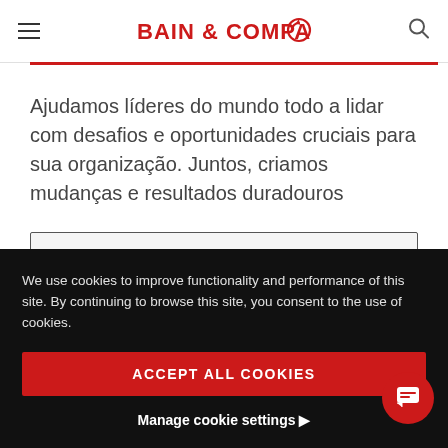BAIN & COMPANY
Ajudamos líderes do mundo todo a lidar com desafios e oportunidades cruciais para sua organização. Juntos, criamos mudanças e resultados duradouros
Seu e-mail profissional
We use cookies to improve functionality and performance of this site. By continuing to browse this site, you consent to the use of cookies.
ACCEPT ALL COOKIES
Manage cookie settings ▶